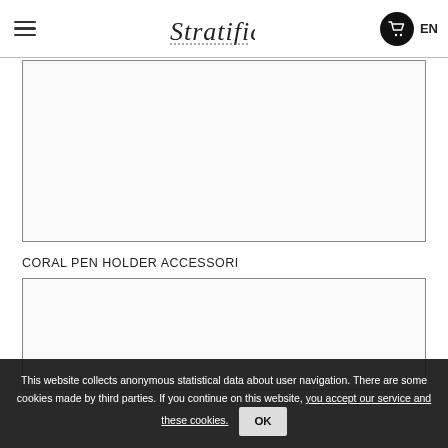Stratifico — EN
[Figure (photo): Product image placeholder — top image box, white/light gray background with border]
CORAL PEN HOLDER ACCESSORI
[Figure (photo): Product image placeholder — bottom image box, white/light gray background with border]
This website collects anonymous statistical data about user navigation. There are some cookies made by third parties. If you continue on this website, you accept our service and these cookies. OK